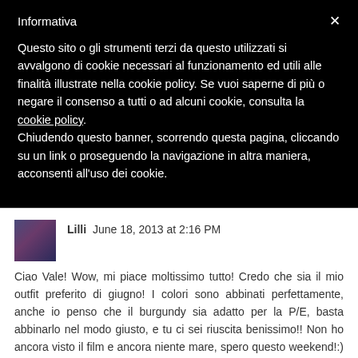Informativa
Questo sito o gli strumenti terzi da questo utilizzati si avvalgono di cookie necessari al funzionamento ed utili alle finalità illustrate nella cookie policy. Se vuoi saperne di più o negare il consenso a tutti o ad alcuni cookie, consulta la cookie policy.
Chiudendo questo banner, scorrendo questa pagina, cliccando su un link o proseguendo la navigazione in altra maniera, acconsenti all'uso dei cookie.
Lilli  June 18, 2013 at 2:16 PM
Ciao Vale! Wow, mi piace moltissimo tutto! Credo che sia il mio outfit preferito di giugno! I colori sono abbinati perfettamente, anche io penso che il burgundy sia adatto per la P/E, basta abbinarlo nel modo giusto, e tu ci sei riuscita benissimo!! Non ho ancora visto il film e ancora niente mare, spero questo weekend!:) Un bacio e buona giornata!:*
Reply